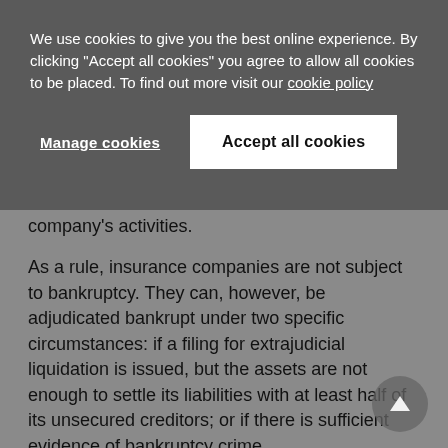We use cookies to give you the best online experience. By clicking "Accept all cookies" you agree to allow all cookies to be placed. To find out more visit our cookie policy
Manage cookies | Accept all cookies
company's activities.
As a rule, insurance companies are not subject to bankruptcy. They can, however, be adjudicated bankrupt under two specific circumstances: if a filing for extrajudicial liquidation is issued, but the assets are not enough to settle its liabilities with at least half of its unsecured creditors; or if there is sufficient evidence of bankruptcy crime.